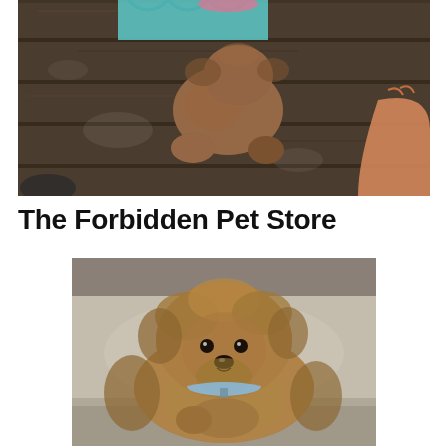[Figure (photo): Overhead view of a small curly brown/auburn dog standing on weathered dark wooden planks. A person in a teal chevron-patterned top is visible at the top, and an orange-sleeved arm is visible at the right. The dog's fluffy brown body and paws are visible on the wooden surface.]
The Forbidden Pet Store
[Figure (photo): A small fluffy golden-brown dog sitting on a car seat headrest, looking directly at the camera. The dog has a light blue collar and curly fur. The car's beige fabric interior is visible in the background.]